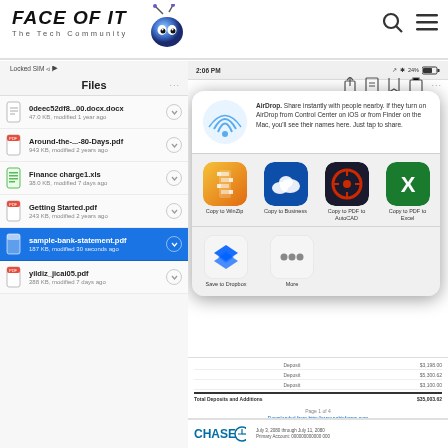FACE OF IT - The Tech Community
[Figure (screenshot): iPad/iOS Files app showing file list on left: 0deec52df8...00.docx.docx, Around-the-...-80-Days.pdf, Finance charge1.xls, Getting Started.pdf, sample-bank-statement.pdf (selected/highlighted in blue), yildiz_jicai05.pdf. Right side shows a share sheet overlay with AirDrop section, app icons (Copy to WinZip, Copy to Business/OneDrive, Copy to PDF to AutoCAD, Copy to PDF to Excel, Save to Dropbox, More), and a partial bank statement document below.]